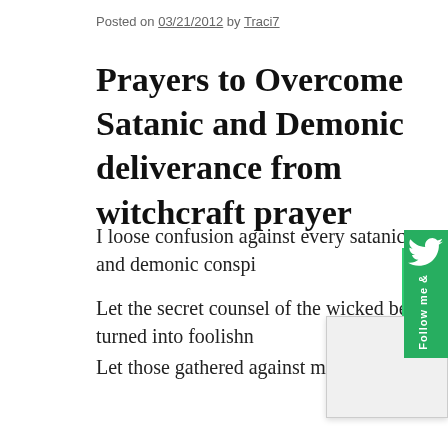Posted on 03/21/2012 by Traci7
Prayers to Overcome Satanic and Demonic deliverance from witchcraft prayer
I loose confusion against every satanic and demonic conspi…
Let the secret counsel of the wicked be turned into foolishn…
Let those gathered against me be scattered.
Send out Your lightning, O Lord, and scatter the enemy.
Destroy, O Lord, and divide their tongues (Ps. 55:9).
No weapon formed against me shall prosper. Th e ga… me.
I…